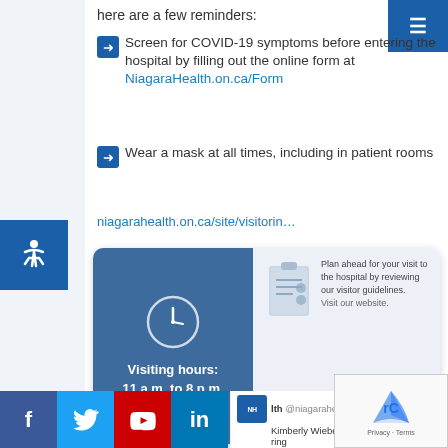here are a few reminders:
Screen for COVID-19 symptoms before entering the hospital by filling out the online form at NiagaraHealth.on.ca/Form
Wear a mask at all times, including in patient rooms
niagarahealth.on.ca/site/visitorin…
[Figure (infographic): Visiting hours card showing 11 a.m. to 8 p.m. with clock icon on blue background left, and clipboard icon with visitor guideline text on right, Niagara Health logo at bottom right]
lth @niagarahealth · Aug 19
Kimberly Wiebe knew her phone would ring